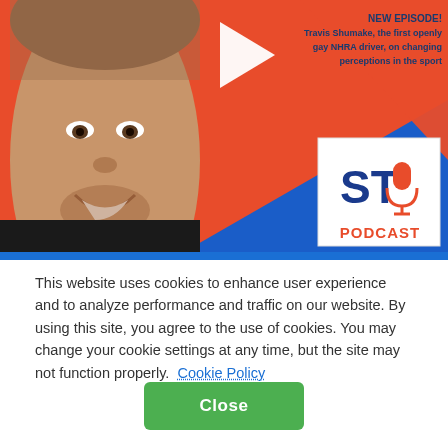[Figure (screenshot): Podcast episode banner featuring a man's face on the left, an orange and blue diagonal background, a play button icon, episode text reading 'NEW EPISODE! Travis Shumake, the first openly gay NHRA driver, on changing perceptions in the sport', and an ST Podcast logo in the bottom right corner.]
This website uses cookies to enhance user experience and to analyze performance and traffic on our website. By using this site, you agree to the use of cookies. You may change your cookie settings at any time, but the site may not function properly.  Cookie Policy
Close